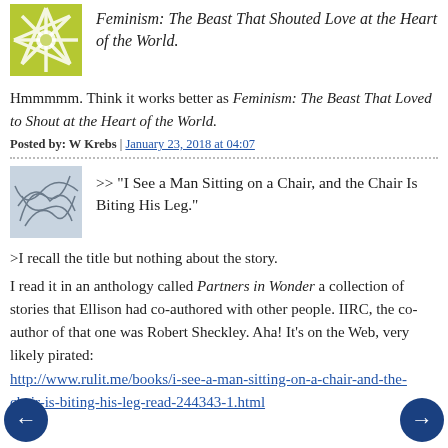[Figure (illustration): Green starburst/snowflake avatar icon on lime green background]
Feminism: The Beast That Shouted Love at the Heart of the World.
Hmmmmm. Think it works better as Feminism: The Beast That Loved to Shout at the Heart of the World.
Posted by: W Krebs | January 23, 2018 at 04:07
[Figure (illustration): Gray abstract lines/scribble avatar icon]
>> "I See a Man Sitting on a Chair, and the Chair Is Biting His Leg."
>I recall the title but nothing about the story.
I read it in an anthology called Partners in Wonder a collection of stories that Ellison had co-authored with other people. IIRC, the co-author of that one was Robert Sheckley. Aha! It's on the Web, very likely pirated: http://www.rulit.me/books/i-see-a-man-sitting-on-a-chair-and-the-chair-is-biting-his-leg-read-244343-1.html